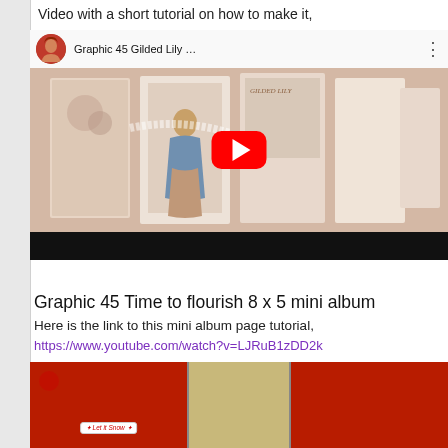Video with a short tutorial on how to make it,
[Figure (screenshot): YouTube video thumbnail showing 'Graphic 45 Gilded Lily ...' with a scrapbook mini album featuring a Victorian woman figure, pink floral decorative pages, and a red YouTube play button. Has a channel avatar (woman with red hair) and a three-dot menu icon.]
Graphic 45 Time to flourish 8 x 5 mini album
Here is the link to this mini album page tutorial,
https://www.youtube.com/watch?v=LJRuB1zDD2k
[Figure (photo): Bottom portion of a photo showing a red crafting/scrapbook mini album with holiday theme, 'Let it Snow' text badge visible, with patterned papers in red and tan colors.]